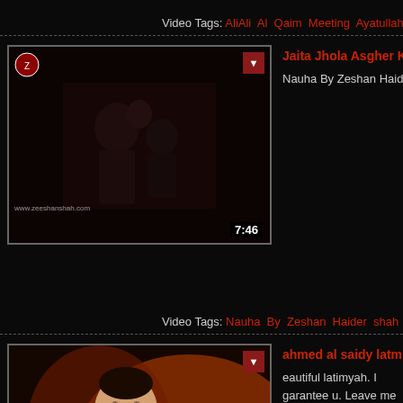Video Tags: AliAli Al Qaim Meeting Ayatullah Taqi Behjat Bahjat Arif A
[Figure (screenshot): Video thumbnail showing people in dark setting, watermark www.zeeshanshah.com, duration 7:46]
Jaita Jhola Asgher Ka - Urdu
Nauha By Zeshan Haider shah about Hazrat Asg
Video Tags: Nauha By Zeshan Haider shah - Karachi
[Figure (screenshot): Video thumbnail showing illustrated figure of a man, Arabic text at bottom, duration 9:16]
ahmed al saidy latmiyah, ana um al baneen, A
eautiful latimyah. I garantee u. Leave me a comm a comment on how you think of it.